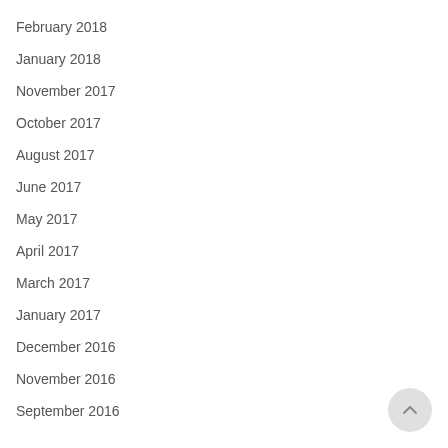February 2018
January 2018
November 2017
October 2017
August 2017
June 2017
May 2017
April 2017
March 2017
January 2017
December 2016
November 2016
September 2016